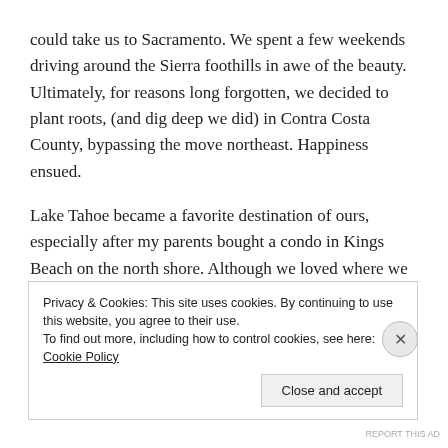could take us to Sacramento. We spent a few weekends driving around the Sierra foothills in awe of the beauty. Ultimately, for reasons long forgotten, we decided to plant roots, (and dig deep we did) in Contra Costa County, bypassing the move northeast. Happiness ensued.
Lake Tahoe became a favorite destination of ours, especially after my parents bought a condo in Kings Beach on the north shore. Although we loved where we lived, every  time we drove up or down, we felt a pull to the towns along the way...what would it be like to retire
Privacy & Cookies: This site uses cookies. By continuing to use this website, you agree to their use.
To find out more, including how to control cookies, see here: Cookie Policy
Close and accept
REPORT THIS AD